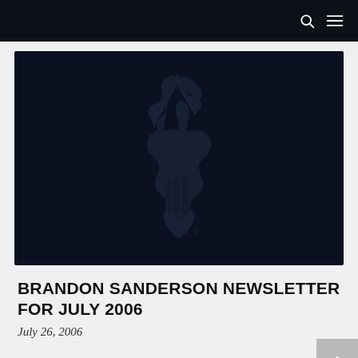Navigation bar with search and menu icons
[Figure (logo): Brandon Sanderson dragon logo — a stylized dragon silhouette atop an S-shaped shield, dark navy on black background]
BRANDON SANDERSON NEWSLETTER FOR JULY 2006
July 26, 2006